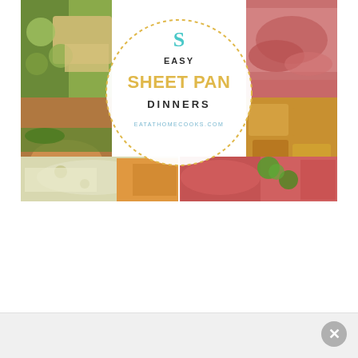[Figure (photo): Collage of food photos arranged in a grid with an overlaid white circle containing the text 'EASY SHEET PAN DINNERS' and website 'EATATHOMECOOKS.COM'. Food photos include brussels sprouts, raw meat, salmon with vegetables, roasted potatoes, fish with herbs, and meat with broccoli.]